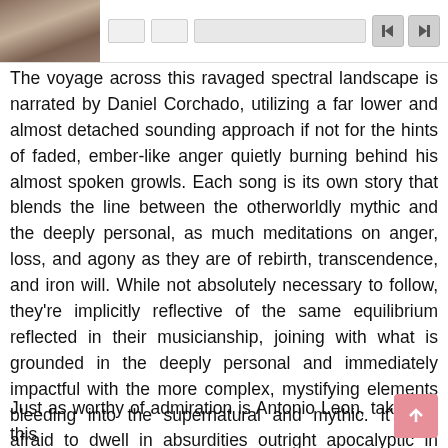[Figure (screenshot): Top navigation bar with album thumbnail image (animal fur texture), playback controls including input boxes and a progress bar, and skip/navigation buttons on the right]
The voyage across this ravaged spectral landscape is narrated by Daniel Corchado, utilizing a far lower and almost detached sounding approach if not for the hints of faded, ember-like anger quietly burning behind his almost spoken growls. Each song is its own story that blends the line between the otherworldly mythic and the deeply personal, as much meditations on anger, loss, and agony as they are of rebirth, transcendence, and iron will. While not absolutely necessary to follow, they're implicitly reflective of the same equilibrium reflected in their musicianship, joining with what is grounded in the deeply personal and immediately impactful with the more complex, mystifying elements bleeding into the supernatural and mythic. It's not afraid to dwell in absurdities outright apocalyptic in nature, yet it does so with a genuine anger and desire for ascendancy, sidestepping pure pulp and self-parodying shock for a snapshot of inner landscapes and ravenous, destructive aspirations.
Just as worthy of admiration is Antonio Leon, taking to this